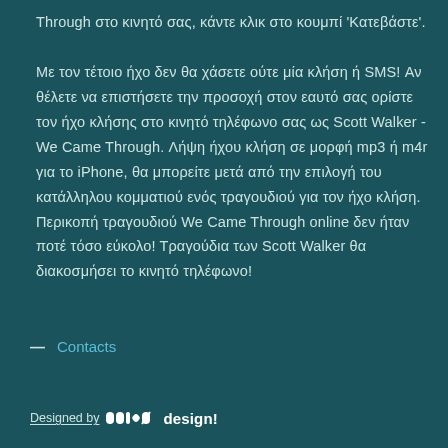Through στο κινητό σας, κάντε κλικ στο κουμπί 'Κατεβάστε'. Με τον τέτοιο ήχο δεν θα χάσετε ούτε μία κλήση ή SMS! Αν θέλετε να επιστήσετε την προσοχή στον εαυτό σας ορίστε τον ήχο κλήσης στο κινητό τηλέφωνο σας ως Scott Walker - We Came Through. Λήψη ήχου κλήση σε μορφή mp3 ή m4r για το iPhone, θα μπορείτε μετά από την επιλογή του κατάλληλου κομματιού ενός τραγουδιού για τον ήχο κλήση. Περικοπή τραγουδιού We Came Through online δεν ήταν ποτέ τόσο εύκολο! Τραγούδια των Scott Walker θα διακοσμήσει το κινητό τηλέφωνο!
— Contacts
Designed by anco design!